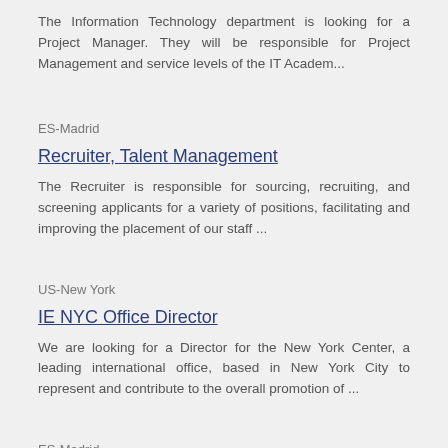The Information Technology department is looking for a Project Manager. They will be responsible for Project Management and service levels of the IT Academ...
ES-Madrid
Recruiter, Talent Management
The Recruiter is responsible for sourcing, recruiting, and screening applicants for a variety of positions, facilitating and improving the placement of our staff ...
US-New York
IE NYC Office Director
We are looking for a Director for the New York Center, a leading international office, based in New York City to represent and contribute to the overall promotion of ...
ES-Madrid
Regional Senior Manager Europe & Central